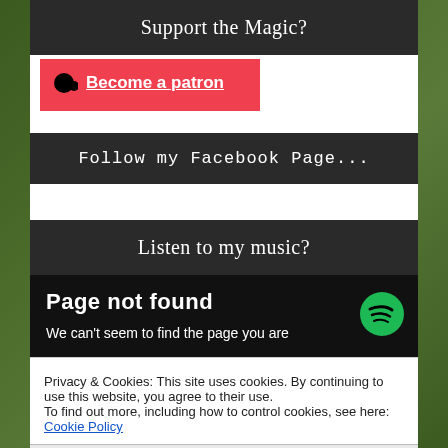Support the Magic?
| Become a patron
Follow my Facebook Page...
Listen to my music?
[Figure (screenshot): Spotify page-not-found error embedded in a dark background showing 'Page not found' and 'We can't seem to find the page you are' with Spotify logo]
Privacy & Cookies: This site uses cookies. By continuing to use this website, you agree to their use.
To find out more, including how to control cookies, see here: Cookie Policy
Close and accept
the Black-Eyed Kids: A